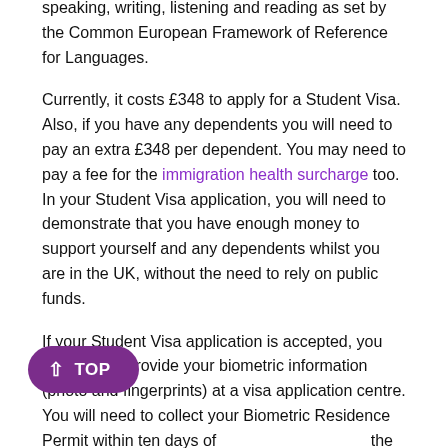speaking, writing, listening and reading as set by the Common European Framework of Reference for Languages.
Currently, it costs £348 to apply for a Student Visa. Also, if you have any dependents you will need to pay an extra £348 per dependent. You may need to pay a fee for the immigration health surcharge too. In your Student Visa application, you will need to demonstrate that you have enough money to support yourself and any dependents whilst you are in the UK, without the need to rely on public funds.
If your Student Visa application is accepted, you will need to provide your biometric information (photo and fingerprints) at a visa application centre. You will need to collect your Biometric Residence Permit within ten days of arriving in the UK.